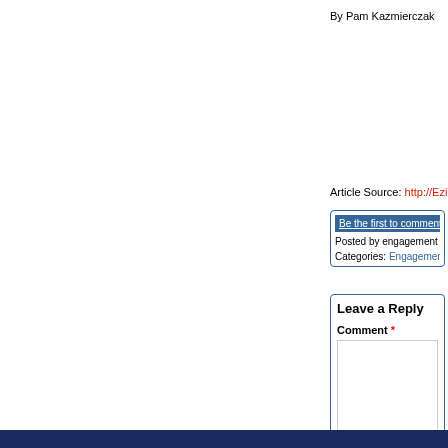By Pam Kazmierczak
Article Source: http://Ezi
Be the first to comment
Posted by engagement ri
Categories: Engagement
Leave a Reply
Comment *